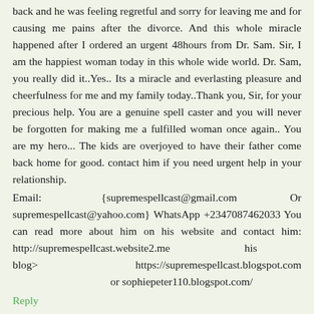back and he was feeling regretful and sorry for leaving me and for causing me pains after the divorce. And this whole miracle happened after I ordered an urgent 48hours from Dr. Sam. Sir, I am the happiest woman today in this whole wide world. Dr. Sam, you really did it..Yes.. Its a miracle and everlasting pleasure and cheerfulness for me and my family today..Thank you, Sir, for your precious help. You are a genuine spell caster and you will never be forgotten for making me a fulfilled woman once again.. You are my hero... The kids are overjoyed to have their father come back home for good. contact him if you need urgent help in your relationship.
Email: {supremespellcast@gmail.com Or supremespellcast@yahoo.com} WhatsApp +2347087462033 You can read more about him on his website and contact him: http://supremespellcast.website2.me his blog> https://supremespellcast.blogspot.com or sophiepeter110.blogspot.com/
Reply
Anonymous July 24, 2018 at 9:41 AM
All thanks to Dr. Sam for the love spell done that brought my